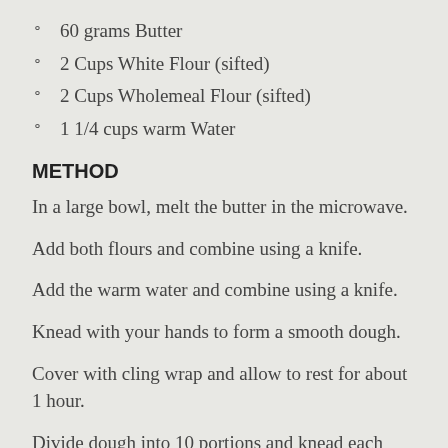60 grams Butter
2 Cups White Flour (sifted)
2 Cups Wholemeal Flour (sifted)
1 1/4 cups warm Water
METHOD
In a large bowl, melt the butter in the microwave.
Add both flours and combine using a knife.
Add the warm water and combine using a knife.
Knead with your hands to form a smooth dough.
Cover with cling wrap and allow to rest for about 1 hour.
Divide dough into 10 portions and knead each into a